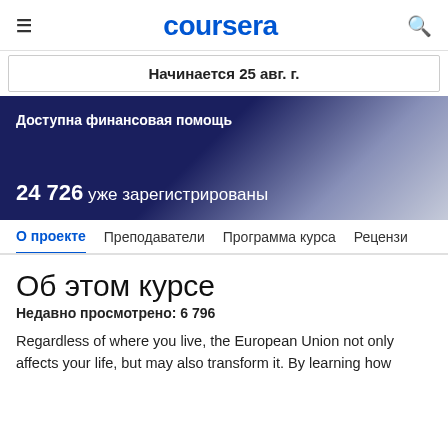coursera
Начинается 25 авг. г.
Доступна финансовая помощь
24 726 уже зарегистрированы
О проекте  Преподаватели  Программа курса  Рецензи
Об этом курсе
Недавно просмотрено: 6 796
Regardless of where you live, the European Union not only affects your life, but may also transform it. By learning how